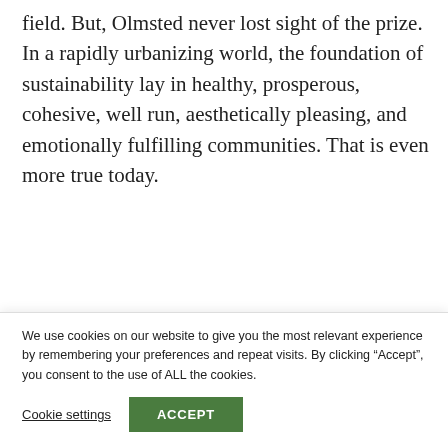field. But, Olmsted never lost sight of the prize. In a rapidly urbanizing world, the foundation of sustainability lay in healthy, prosperous, cohesive, well run, aesthetically pleasing, and emotionally fulfilling communities. That is even more true today.
TAGGED: History, Sustainability, Urbanization
ADAM ROME
Adam teaches environmental history at the
We use cookies on our website to give you the most relevant experience by remembering your preferences and repeat visits. By clicking “Accept”, you consent to the use of ALL the cookies.
Cookie settings | ACCEPT